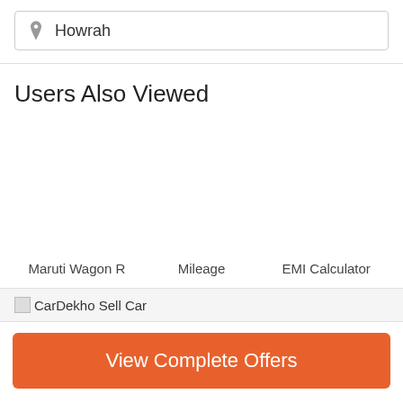Howrah
Users Also Viewed
Maruti Wagon R
Mileage
EMI Calculator
[Figure (other): CarDekho Sell Car banner image (broken image placeholder)]
View Complete Offers